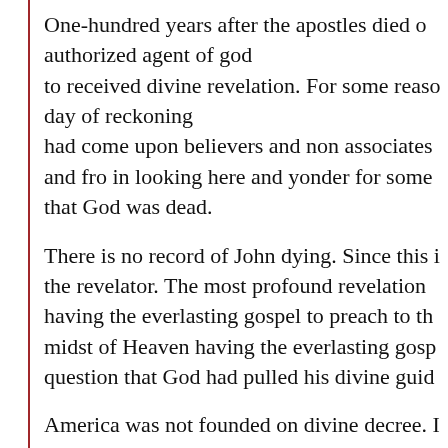One-hundred years after the apostles died o authorized agent of god to received divine revelation. For some reaso day of reckoning had come upon believers and non associates and fro in looking here and yonder for some that God was dead.
There is no record of John dying. Since this i the revelator. The most profound revelation having the everlasting gospel to preach to th midst of Heaven having the everlasting gosp question that God had pulled his divine guid
America was not founded on divine decree. I worshipped their God as one tribal blood lin intelligences. It just so happened that they h